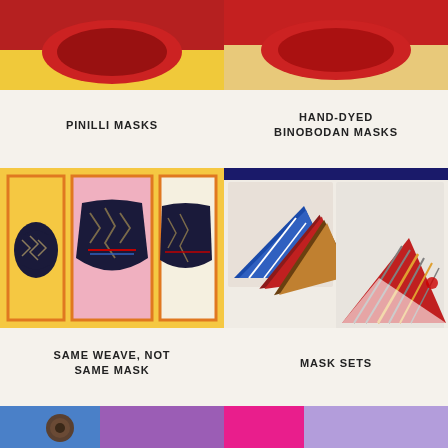[Figure (photo): Pinilli mask product photo on yellow background, partial view top]
[Figure (photo): Hand-dyed Binobodan mask product photo on peach/beige background, partial view top]
PINILLI MASKS
HAND-DYED BINOBODAN MASKS
[Figure (photo): Same Weave Not Same Mask - dark ikat fabric masks displayed in three-panel orange-framed layout on yellow, pink, and cream backgrounds]
[Figure (photo): Mask Sets - colorful striped fabric masks stacked in two groups on cream background]
SAME WEAVE, NOT SAME MASK
MASK SETS
[Figure (photo): Bottom left product image partial view - blue/purple background]
[Figure (photo): Bottom right product image partial view - pink/purple background]